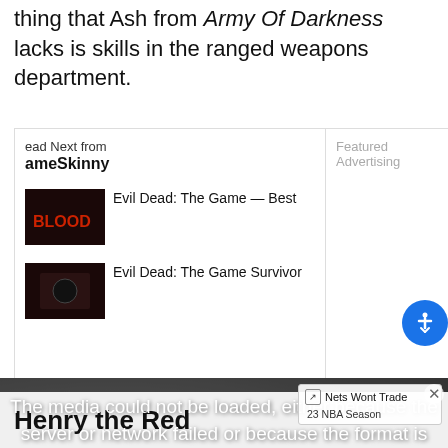thing that Ash from Army Of Darkness lacks is skills in the ranged weapons department.
Read Next from GameSkinny
Featured Advertising
Evil Dead: The Game — Best
Evil Dead: The Game Survivor
[Figure (screenshot): Media player overlay showing error message: The media could not be loaded, either because the server or network failed or because the format is not supported. With an X close button and a news sidebar showing 'Nets Wont Trade' and '23 NBA Season' text.]
Henry the Red